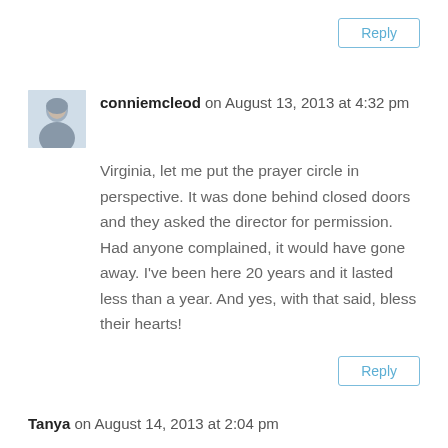Reply
conniemcleod on August 13, 2013 at 4:32 pm
Virginia, let me put the prayer circle in perspective. It was done behind closed doors and they asked the director for permission. Had anyone complained, it would have gone away. I've been here 20 years and it lasted less than a year. And yes, with that said, bless their hearts!
Reply
Tanya on August 14, 2013 at 2:04 pm